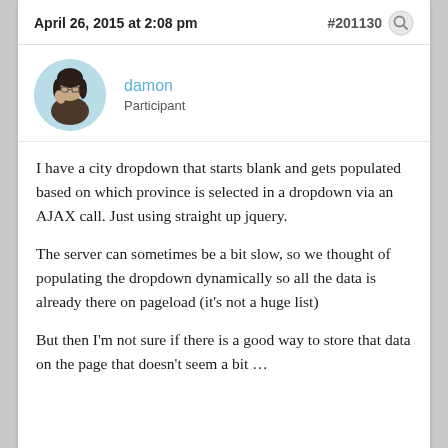April 26, 2015 at 2:08 pm
#201130
[Figure (photo): Round avatar photo of user 'damon', a young man with glasses and long dark hair]
damon
Participant
I have a city dropdown that starts blank and gets populated based on which province is selected in a dropdown via an AJAX call. Just using straight up jquery.
The server can sometimes be a bit slow, so we thought of populating the dropdown dynamically so all the data is already there on pageload (it’s not a huge list)
But then I’m not sure if there is a good way to store that data on the page that doesn’t seem a bit …